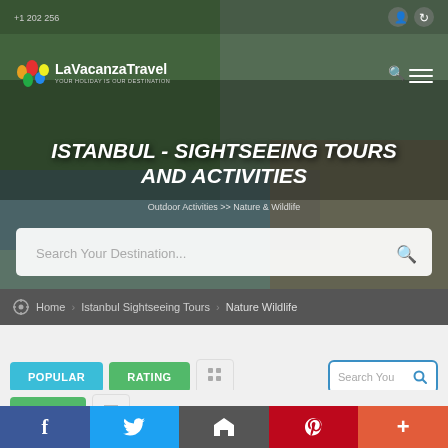[Figure (screenshot): Hero banner with outdoor nature scene background (trees, river, deck chairs) for LaVacanza Travel website]
ISTANBUL - SIGHTSEEING TOURS AND ACTIVITIES
Outdoor Activities >> Nature & Wildlife
Search Your Destination...
Home > Istanbul Sightseeing Tours > Nature Wildlife
POPULAR
RATING
PRICE
Search You
[Figure (screenshot): Social media share bar at bottom: Facebook, Twitter, Email, Pinterest, Plus]